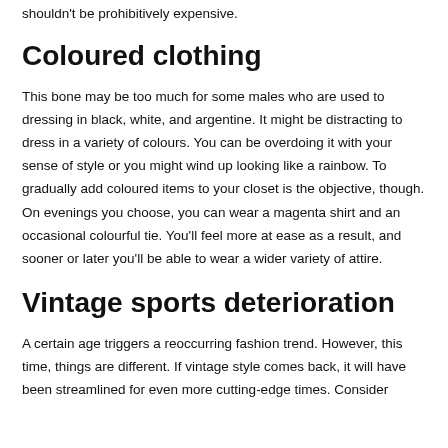shouldn't be prohibitively expensive.
Coloured clothing
This bone may be too much for some males who are used to dressing in black, white, and argentine. It might be distracting to dress in a variety of colours. You can be overdoing it with your sense of style or you might wind up looking like a rainbow. To gradually add coloured items to your closet is the objective, though. On evenings you choose, you can wear a magenta shirt and an occasional colourful tie. You'll feel more at ease as a result, and sooner or later you'll be able to wear a wider variety of attire.
Vintage sports deterioration
A certain age triggers a reoccurring fashion trend. However, this time, things are different. If vintage style comes back, it will have been streamlined for even more cutting-edge times. Consider